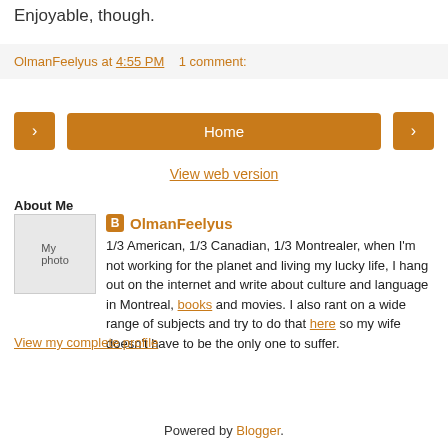Enjoyable, though.
OlmanFeelyus at 4:55 PM   1 comment:
< Home > View web version
About Me
OlmanFeelyus
1/3 American, 1/3 Canadian, 1/3 Montrealer, when I'm not working for the planet and living my lucky life, I hang out on the internet and write about culture and language in Montreal, books and movies. I also rant on a wide range of subjects and try to do that here so my wife doesn't have to be the only one to suffer.
View my complete profile
Powered by Blogger.